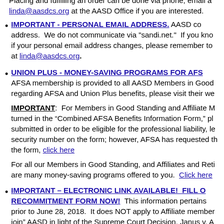Placing and fulfilling an order can be done via phone, email at linda@aasdcs.org at the AASD Office if you are interested.
IMPORTANT - PERSONAL EMAIL ADDRESS. AASD co... address. We do not communicate via "sandi.net." If you know... if your personal email address changes, please remember to ... at linda@aasdcs.org.
UNION PLUS - MONEY-SAVING PROGRAMS FOR AFS... AFSA membership is provided to all AASD Members in Good... regarding AFSA and Union Plus benefits, please visit their we...
IMPORTANT: For Members in Good Standing and Affiliate M... turned in the "Combined AFSA Benefits Information Form," pl... submitted in order to be eligible for the professional liability, le... security number on the form; however, AFSA has requested th... the form, click here
For all our Members in Good Standing, and Affiliates and Reti... are many money-saving programs offered to you. Click here
IMPORTANT – ELECTRONIC LINK AVAILABLE! FILL O... RECOMMITMENT FORM NOW! This information pertains... prior to June 28, 2018. It does NOT apply to Affiliate member... join" AASD in light of the Supreme Court Decision, Janus v. A... 2018, per the Decision, you automatically stayed as an AASD... However, we are asking all AASD members to re-commit to A... re-confirms your AASD membership and ensures that you ha...